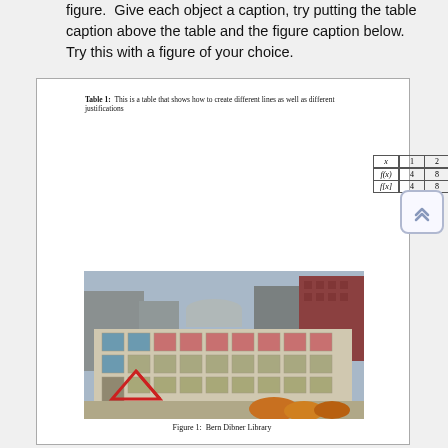figure.  Give each object a caption, try putting the table caption above the table and the figure caption below.  Try this with a figure of your choice.
Table 1:  This is a table that shows how to create different lines as well as different justifications
| x | 1 | 2 | 3 |
| --- | --- | --- | --- |
| f(x) | 4 | 8 | 12 |
| f[x] | 4 | 8 | 12 |
[Figure (photo): Photograph of the Bern Dibner Library building, a large multi-story concrete structure with a grid of square window openings. A red triangle/arrow shape is visible near the lower-left entrance area. Background shows other urban buildings and autumn trees.]
Figure 1:  Bern Dibner Library